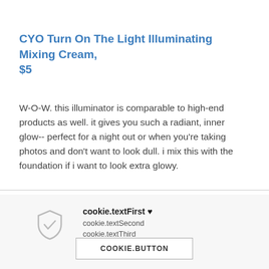CYO Turn On The Light Illuminating Mixing Cream, $5
W-O-W. this illuminator is comparable to high-end products as well. it gives you such a radiant, inner glow-- perfect for a night out or when you're taking photos and don't want to look dull. i mix this with the foundation if i want to look extra glowy.
cookie.textFirst ♥
cookie.textSecond
cookie.textThird
COOKIE.BUTTON